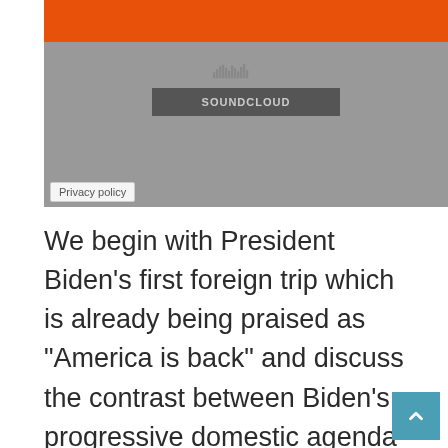[Figure (screenshot): SoundCloud embedded player widget with orange header bar, SoundCloud waveform icon, and a dark gray SoundCloud button on a gray background]
Privacy policy
We begin with President Biden’s first foreign trip which is already being praised as “America is back” and discuss the contrast between Biden’s progressive domestic agenda and his conservative foreign policy since Biden has surrounded himself with establishment figures who played a central role in the disastrous interventionist policies in the Middle East. Asli Bali , Professor of Law and Faculty Director of the Promise